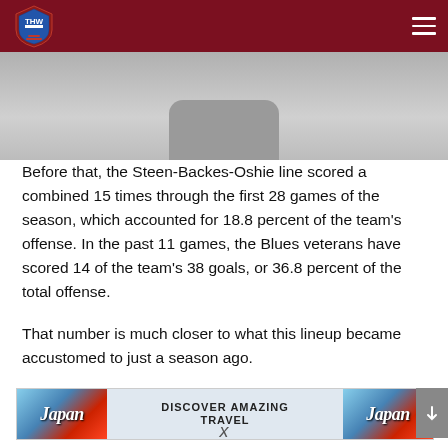THW
[Figure (photo): Partial view of a smartphone or device, gray background]
Before that, the Steen-Backes-Oshie line scored a combined 15 times through the first 28 games of the season, which accounted for 18.8 percent of the team's offense. In the past 11 games, the Blues veterans have scored 14 of the team's 38 goals, or 36.8 percent of the total offense.
That number is much closer to what this lineup became accustomed to just a season ago.
[Figure (other): Japan travel advertisement banner: Discover Amazing Travel]